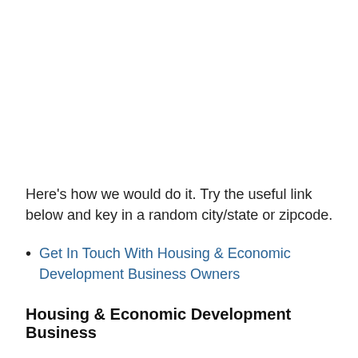Here's how we would do it. Try the useful link below and key in a random city/state or zipcode.
Get In Touch With Housing & Economic Development Business Owners
Housing & Economic Development Business